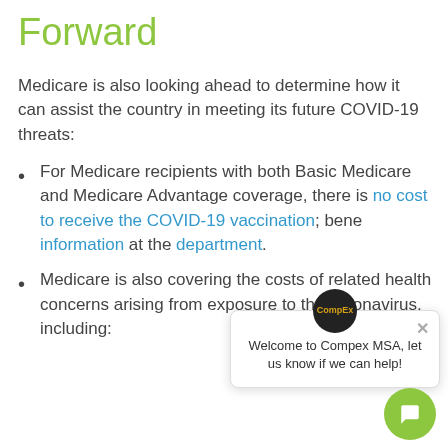Forward
Medicare is also looking ahead to determine how it can assist the country in meeting its future COVID-19 threats:
For Medicare recipients with both Basic Medicare and Medicare Advantage coverage, there is no cost to receive the COVID-19 vaccination; benefit information at the department.
Medicare is also covering the costs of related health concerns arising from exposure to the coronavirus, including: